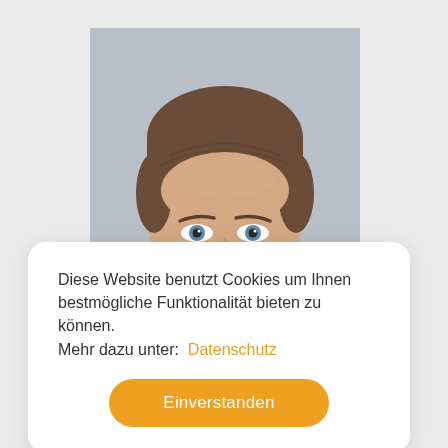[Figure (photo): Headshot photo of a middle-aged man with short brown hair and blue eyes, photographed against a light gray background. Only the upper half of his face (forehead to just below the eyes) is visible as the lower portion is obscured by the cookie consent overlay.]
Diese Website benutzt Cookies um Ihnen bestmögliche Funktionalität bieten zu können. Mehr dazu unter:  Datenschutz
Einverstanden